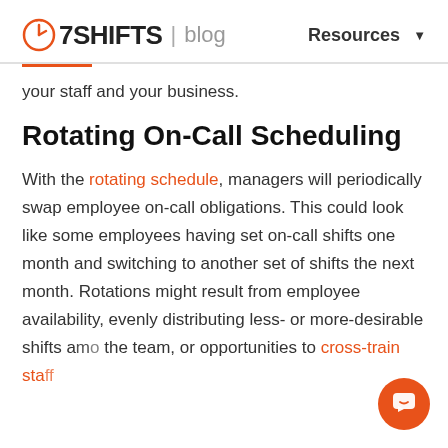7SHIFTS | blog   Resources
your staff and your business.
Rotating On-Call Scheduling
With the rotating schedule, managers will periodically swap employee on-call obligations. This could look like some employees having set on-call shifts one month and switching to another set of shifts the next month. Rotations might result from employee availability, evenly distributing less- or more-desirable shifts among the team, or opportunities to cross-train sta…